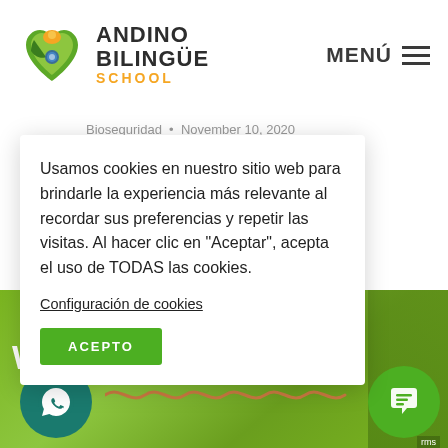[Figure (logo): Andino Bilingüe School logo with heart shape in green and yellow colors]
ANDINO BILINGÜE SCHOOL  MENÚ
Bioseguridad • November 10, 2020
tution has n more when ...
Usamos cookies en nuestro sitio web para brindarle la experiencia más relevante al recordar sus preferencias y repetir las visitas. Al hacer clic en "Aceptar", acepta el uso de TODAS las cookies.
Configuración de cookies
ACEPTO
We will contact you
[Figure (logo): WhatsApp icon in teal circle]
[Figure (illustration): Orange squiggly line decoration]
[Figure (logo): Chat icon in green circle at bottom right]